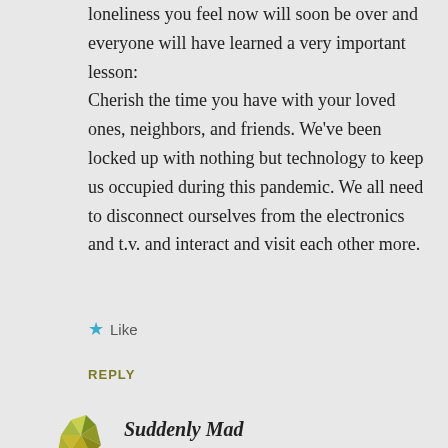loneliness you feel now will soon be over and everyone will have learned a very important lesson: Cherish the time you have with your loved ones, neighbors, and friends. We've been locked up with nothing but technology to keep us occupied during this pandemic. We all need to disconnect ourselves from the electronics and t.v. and interact and visit each other more.
Like
REPLY
Suddenly Mad